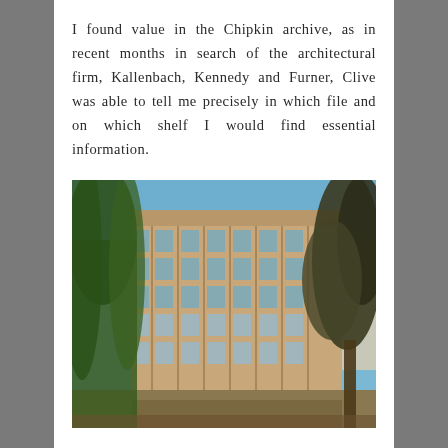I found value in the Chipkin archive, as in recent months in search of the architectural firm, Kallenbach, Kennedy and Furner, Clive was able to tell me precisely in which file and on which shelf I would find essential information.
[Figure (photo): Exterior photograph of a modernist multi-storey building with large windows and colonnaded facade, flanked by a palm tree on the left and a deciduous tree on the right, taken on a clear blue-sky day.]